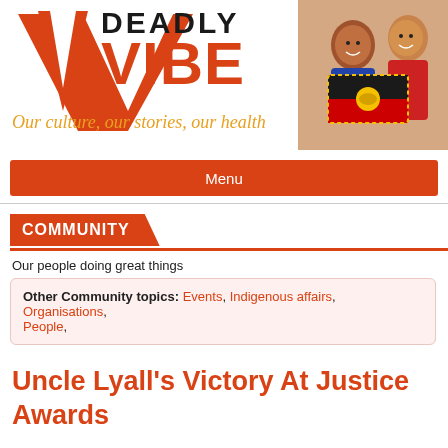[Figure (logo): Deadly Vibe logo with large red V chevron shape and bold DEADLY VIBE text]
[Figure (photo): Two young people holding an Aboriginal flag artwork, smiling]
Our culture, our stories, our health
Menu
COMMUNITY
Our people doing great things
Other Community topics: Events, Indigenous affairs, Organisations, People,
Uncle Lyall's Victory At Justice Awards